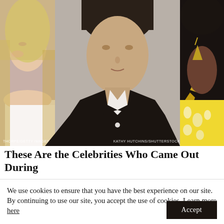[Figure (photo): Three side-by-side celebrity photos: a blonde woman on the left, a man in a black jacket in the center, and a person with dark curly hair and yellow accessories on the right. Watermark text on left reads 'THORPE/GETTY IMAGES' and on center reads 'KATHY HUTCHINS/SHUTTERSTOCK'.]
These Are the Celebrities Who Came Out During
We use cookies to ensure that you have the best experience on our site. By continuing to use our site, you accept the use of cookies. Learn more here
Accept